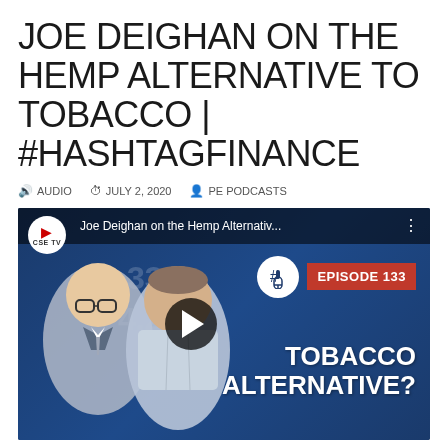JOE DEIGHAN ON THE HEMP ALTERNATIVE TO TOBACCO | #HASHTAGFINANCE
AUDIO   JULY 2, 2020   PE PODCASTS
[Figure (screenshot): YouTube video thumbnail for 'Joe Deighan on the Hemp Alternativ...' showing two smiling men on a blue financial background with stock numbers, a microphone icon, 'EPISODE 133' badge, and 'TOBACCO ALTERNATIVE?' text. A play button is visible in the center.]